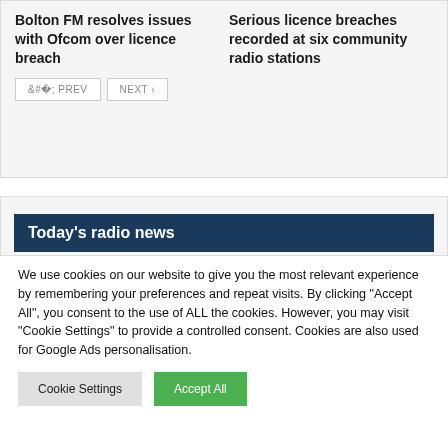Bolton FM resolves issues with Ofcom over licence breach
Serious licence breaches recorded at six community radio stations
< PREV   NEXT >
Today's radio news
We use cookies on our website to give you the most relevant experience by remembering your preferences and repeat visits. By clicking “Accept All”, you consent to the use of ALL the cookies. However, you may visit “Cookie Settings” to provide a controlled consent. Cookies are also used for Google Ads personalisation.
Cookie Settings
Accept All